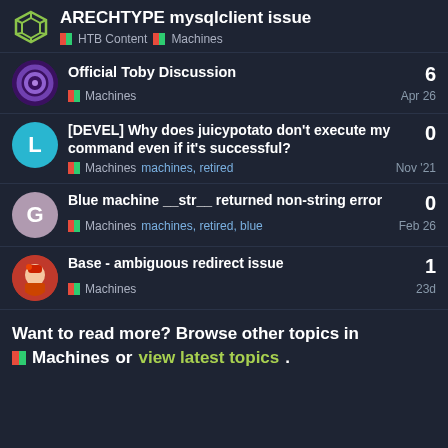ARECHTYPE mysqlclient issue — HTB Content | Machines
Official Toby Discussion — Machines — 6 — Apr 26
[DEVEL] Why does juicypotato don't execute my command even if it's successful? — Machines, machines, retired — 0 — Nov '21
Blue machine __str__ returned non-string error — Machines, machines, retired, blue — 0 — Feb 26
Base - ambiguous redirect issue — Machines — 1 — 23d
Want to read more? Browse other topics in Machines or view latest topics.